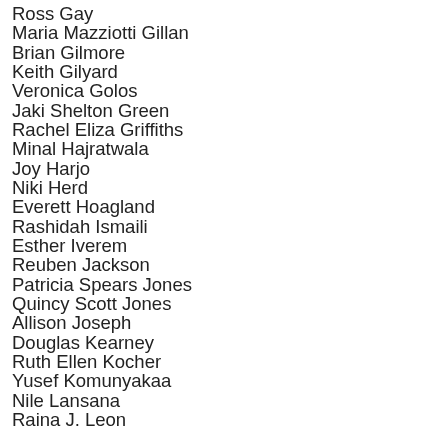Ross Gay
Maria Mazziotti Gillan
Brian Gilmore
Keith Gilyard
Veronica Golos
Jaki Shelton Green
Rachel Eliza Griffiths
Minal Hajratwala
Joy Harjo
Niki Herd
Everett Hoagland
Rashidah Ismaili
Esther Iverem
Reuben Jackson
Patricia Spears Jones
Quincy Scott Jones
Allison Joseph
Douglas Kearney
Ruth Ellen Kocher
Yusef Komunyakaa
Nile Lansana
Raina J. Leon